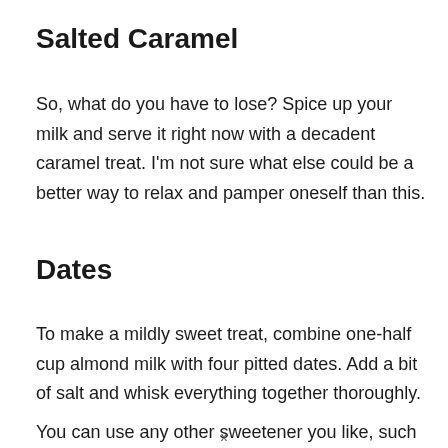Salted Caramel
So, what do you have to lose? Spice up your milk and serve it right now with a decadent caramel treat. I'm not sure what else could be a better way to relax and pamper oneself than this.
Dates
To make a mildly sweet treat, combine one-half cup almond milk with four pitted dates. Add a bit of salt and whisk everything together thoroughly.
You can use any other sweetener you like, such as maple
x